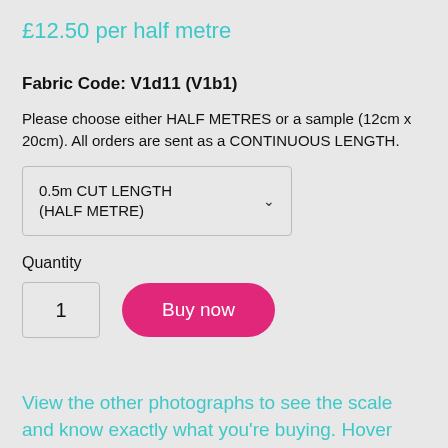£12.50 per half metre
Fabric Code: V1d11 (V1b1)
Please choose either HALF METRES or a sample (12cm x 20cm). All orders are sent as a CONTINUOUS LENGTH.
0.5m CUT LENGTH (HALF METRE)
Quantity
1
Buy now
View the other photographs to see the scale and know exactly what you're buying. Hover over the images for enlarged views.